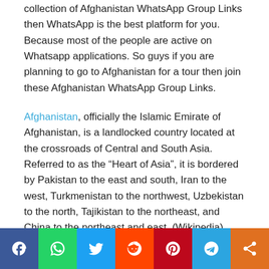collection of Afghanistan WhatsApp Group Links then WhatsApp is the best platform for you. Because most of the people are active on Whatsapp applications. So guys if you are planning to go to Afghanistan for a tour then join these Afghanistan WhatsApp Group Links.
Afghanistan, officially the Islamic Emirate of Afghanistan, is a landlocked country located at the crossroads of Central and South Asia. Referred to as the “Heart of Asia”, it is bordered by Pakistan to the east and south, Iran to the west, Turkmenistan to the northwest, Uzbekistan to the north, Tajikistan to the northeast, and China to the northeast and east. (Wikipedia)
Guys if you search on the internet for the country Afgha...